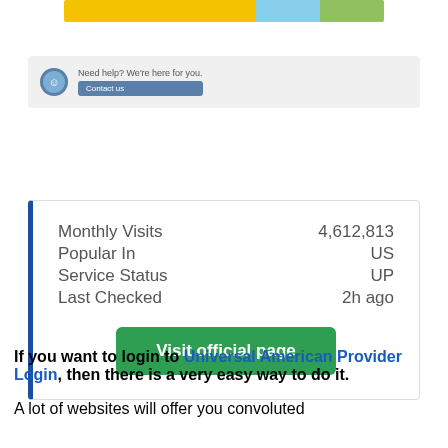[Figure (photo): Partial banner image with yellow, blue and green sections at top of page]
[Figure (screenshot): Help bar with support icon, text 'Need help? We're here for you.' and a Contact Us button]
| Monthly Visits | 4,612,813 |
| Popular In | US |
| Service Status | UP |
| Last Checked | 2h ago |
Visit official page
If you want to login to Universal American Provider Login, then there is a very easy way to do it.
A lot of websites will offer you convoluted